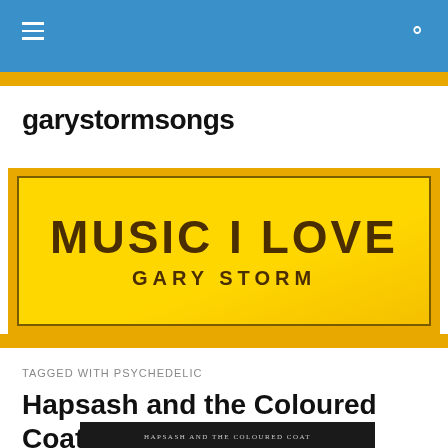garystormsongs — navigation bar with hamburger menu and search icon
garystormsongs
[Figure (illustration): Yellow/gold banner with bold dark brown text reading 'MUSIC I LOVE' and subtitle 'GARY STORM' on a yellow gradient background with gold border]
TAGGED WITH PSYCHEDELIC
Hapsash and the Coloured Coat
[Figure (photo): Partial view of an album cover or book cover with text 'HAPSASH AND THE COLOURED COAT' visible on a dark background]